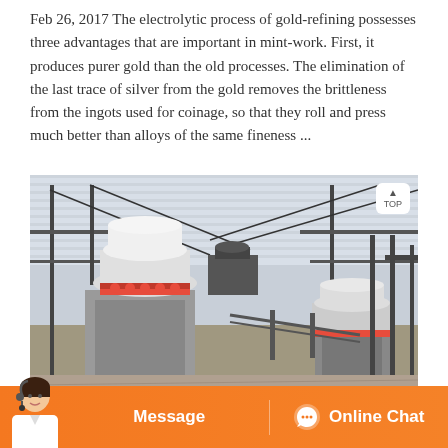Feb 26, 2017 The electrolytic process of gold-refining possesses three advantages that are important in mint-work. First, it produces purer gold than the old processes. The elimination of the last trace of silver from the gold removes the brittleness from the ingots used for coinage, so that they roll and press much better than alloys of the same fineness ...
[Figure (photo): Industrial photo showing two cone crushers mounted on concrete plinths inside a large steel-frame warehouse with corrugated metal roof. The machines have white conical tops and red trim. One is in the foreground left, another in the mid-right background. Steel framework structures and conveyor equipment visible.]